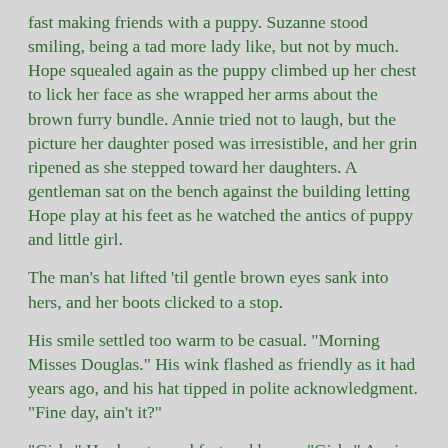fast making friends with a puppy.  Suzanne stood smiling, being a tad more lady like, but not by much.  Hope squealed again as the puppy climbed up her chest to lick her face as she wrapped her arms about the brown furry bundle.  Annie tried not to laugh, but the picture her daughter posed was irresistible, and her grin ripened as she stepped toward her daughters.  A gentleman sat on the bench against the building letting Hope play at his feet as he watched the antics of puppy and little girl.
The man's hat lifted 'til gentle brown eyes sank into hers, and her boots clicked to a stop.
His smile settled too warm to be casual.  "Morning Misses Douglas."  His wink flashed as friendly as it had years ago, and his hat tipped in polite acknowledgment.  "Fine day, ain't it?"
"Girls."  Her heart raced fast and heavy.  "Girls," Annie rasped again, but even Suzanne didn't hear her.  Annie swallowed her nervousness and tried again.  "It's time to go."  But they were too enthralled with the pup to hear.
"She's beautiful," his voice softened so only she heard.  "Just as I